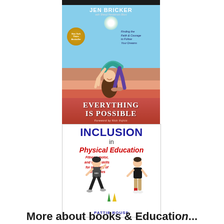[Figure (photo): Book cover: 'Everything Is Possible' by Jen Bricker. Shows a person doing a backbend on a wooden floor, wearing teal outfit. Coral/salmon colored background for the title area. New York Times Bestseller badge. Subtitle: Finding the Faith & Courage to Follow Your Dreams. Foreword by Nick Vujicic.]
[Figure (photo): Book cover: 'Inclusion in Physical Education: Fitness, motor, and social skills for students of all abilities' by Pattie Rouse. White background with two children running/moving around cones. Title in navy blue and red.]
More about books & Education...